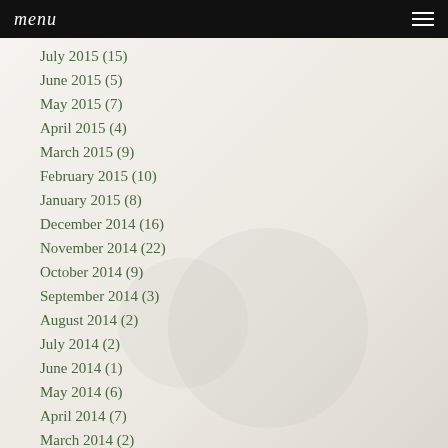Menu
July 2015 (15)
June 2015 (5)
May 2015 (7)
April 2015 (4)
March 2015 (9)
February 2015 (10)
January 2015 (8)
December 2014 (16)
November 2014 (22)
October 2014 (9)
September 2014 (3)
August 2014 (2)
July 2014 (2)
June 2014 (1)
May 2014 (6)
April 2014 (7)
March 2014 (2)
February 2014 (2)